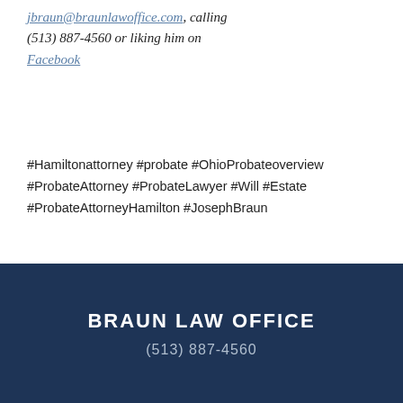jbraun@braunlawoffice.com, calling (513) 887-4560 or liking him on Facebook
#Hamiltonattorney #probate #OhioProbateoverview #ProbateAttorney #ProbateLawyer #Will #Estate #ProbateAttorneyHamilton #JosephBraun
[Figure (other): Social share icons: Facebook (f), Twitter (bird), LinkedIn (in)]
[Figure (other): Heart/like icon (outlined heart in coral/red)]
BRAUN LAW OFFICE
(513) 887-4560